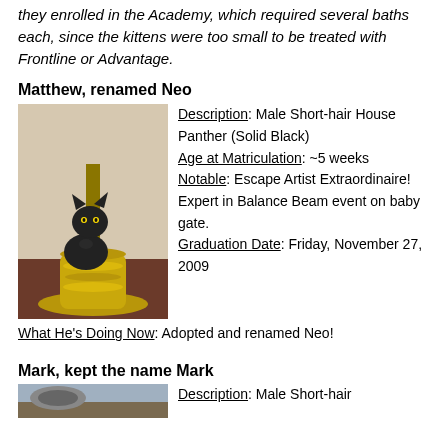they enrolled in the Academy, which required several baths each, since the kittens were too small to be treated with Frontline or Advantage.
Matthew, renamed Neo
[Figure (photo): Black kitten standing next to a brass lamp base on a wooden surface]
Description: Male Short-hair House Panther (Solid Black)
Age at Matriculation: ~5 weeks
Notable: Escape Artist Extraordinaire! Expert in Balance Beam event on baby gate.
Graduation Date: Friday, November 27, 2009
What He's Doing Now: Adopted and renamed Neo!
Mark, kept the name Mark
Description: Male Short-hair